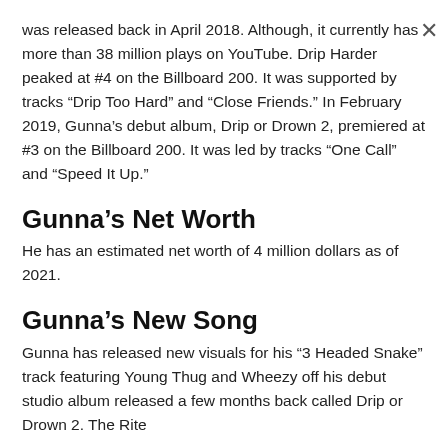was released back in April 2018. Although, it currently has more than 38 million plays on YouTube. Drip Harder peaked at #4 on the Billboard 200. It was supported by tracks “Drip Too Hard” and “Close Friends.” In February 2019, Gunna’s debut album, Drip or Drown 2, premiered at #3 on the Billboard 200. It was led by tracks “One Call” and “Speed It Up.”
Gunna’s Net Worth
He has an estimated net worth of 4 million dollars as of 2021.
Gunna’s New Song
Gunna has released new visuals for his “3 Headed Snake” track featuring Young Thug and Wheezy off his debut studio album released a few months back called Drip or Drown 2. The Rite